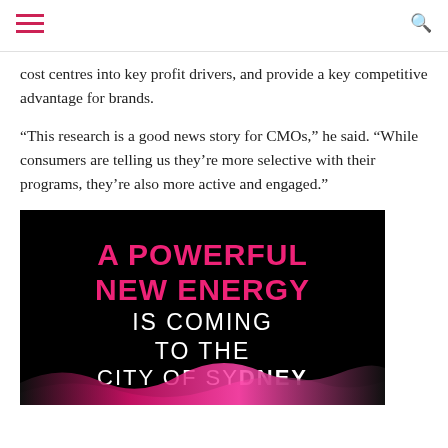cost centres into key profit drivers, and provide a key competitive advantage for brands.
“This research is a good news story for CMOs," he said. "While consumers are telling us they’re more selective with their programs, they’re also more active and engaged."
[Figure (illustration): Advertisement on black background with pink and white text reading: A POWERFUL NEW ENERGY IS COMING TO THE CITY OF SYDNEY, with a pink wave graphic at the bottom.]